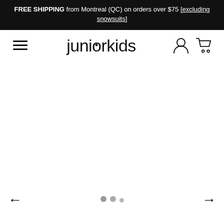FREE SHIPPING from Montreal (QC) on orders over $75 [excluding snowsuits]
[Figure (screenshot): Juniorkids e-commerce website header with hamburger menu icon on the left, 'juniorkids' logo in center, user account and shopping cart icons on the right, navigation arrows and pagination dots at the bottom]